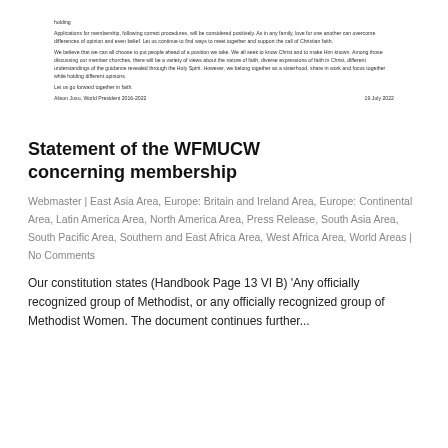[Figure (other): Scanned letter or document excerpt with small text, including paragraphs about membership and a signature line reading 'Alison Jusu, World President 2016-2022' dated '19 July 2022'.]
Statement of the WFMUCW concerning membership
Webmaster | East Asia Area, Europe: Britain and Ireland Area, Europe: Continental Area, Latin America Area, North America Area, Press Release, South Asia Area, South Pacific Area, Southern and East Africa Area, West Africa Area, World Areas | No Comments
Our constitution states (Handbook Page 13 VI B) 'Any officially recognized group of Methodist, or any officially recognized group of Methodist Women. The document continues further...